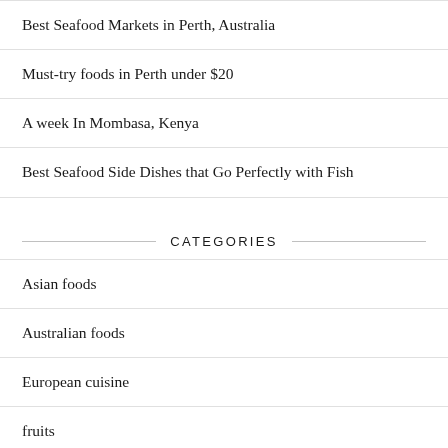Best Seafood Markets in Perth, Australia
Must-try foods in Perth under $20
A week In Mombasa, Kenya
Best Seafood Side Dishes that Go Perfectly with Fish
CATEGORIES
Asian foods
Australian foods
European cuisine
fruits